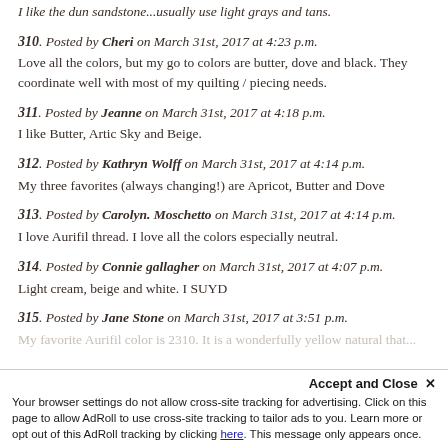I like the dun sandstone...usually use light grays and tans.
310. Posted by Cheri on March 31st, 2017 at 4:23 p.m.
Love all the colors, but my go to colors are butter, dove and black. They coordinate well with most of my quilting / piecing needs.
311. Posted by Jeanne on March 31st, 2017 at 4:18 p.m.
I like Butter, Artic Sky and Beige.
312. Posted by Kathryn Wolff on March 31st, 2017 at 4:14 p.m.
My three favorites (always changing!) are Apricot, Butter and Dove
313. Posted by Carolyn. Moschetto on March 31st, 2017 at 4:14 p.m.
I love Aurifil thread. I love all the colors especially neutral.
314. Posted by Connie gallagher on March 31st, 2017 at 4:07 p.m.
Light cream, beige and white. I SUYD
315. Posted by Jane Stone on March 31st, 2017 at 3:51 p.m.
My favorite Aurifil color is 2310. It is a wonderfullyellow natural that...
Your browser settings do not allow cross-site tracking for advertising. Click on this page to allow AdRoll to use cross-site tracking to tailor ads to you. Learn more or opt out of this AdRoll tracking by clicking here. This message only appears once.